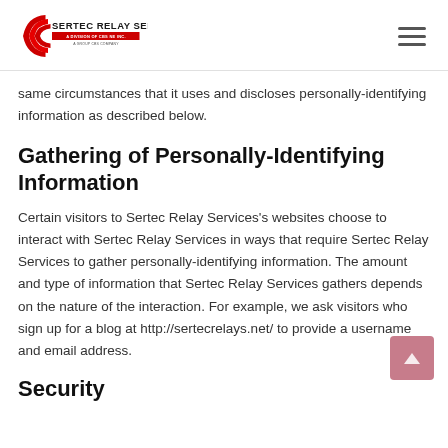Sertec Relay Services — A Division of CBS NE Inc. — A Group CBS Company
same circumstances that it uses and discloses personally-identifying information as described below.
Gathering of Personally-Identifying Information
Certain visitors to Sertec Relay Services's websites choose to interact with Sertec Relay Services in ways that require Sertec Relay Services to gather personally-identifying information. The amount and type of information that Sertec Relay Services gathers depends on the nature of the interaction. For example, we ask visitors who sign up for a blog at http://sertecrelays.net/ to provide a username and email address.
Security